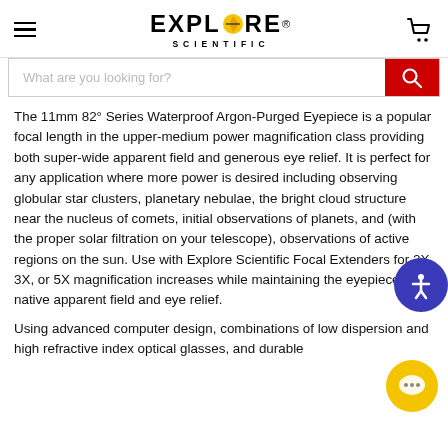Explore Scientific
The 11mm 82° Series Waterproof Argon-Purged Eyepiece is a popular focal length in the upper-medium power magnification class providing both super-wide apparent field and generous eye relief. It is perfect for any application where more power is desired including observing globular star clusters, planetary nebulae, the bright cloud structure near the nucleus of comets, initial observations of planets, and (with the proper solar filtration on your telescope), observations of active regions on the sun. Use with Explore Scientific Focal Extenders for 2X, 3X, or 5X magnification increases while maintaining the eyepiece native apparent field and eye relief.
Using advanced computer design, combinations of low dispersion and high refractive index optical glasses, and durable